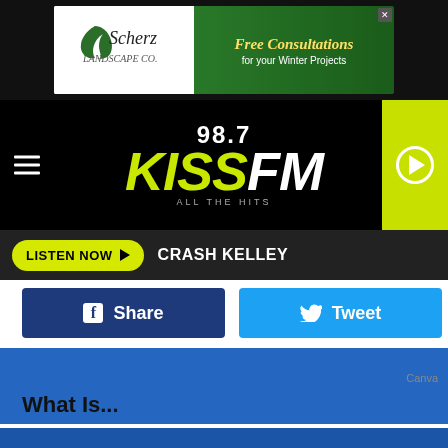[Figure (photo): Scherz Landscape Co. ad banner: Free Consultations for your Winter Projects]
[Figure (logo): 98.7 KISS FM All The Hits radio station logo in yellow-green on black background]
LISTEN NOW   CRASH KELLEY
Share
Tweet
Canva
What Is...
NAMED FOR A TYPE OF DWELLING FOUND MUCH